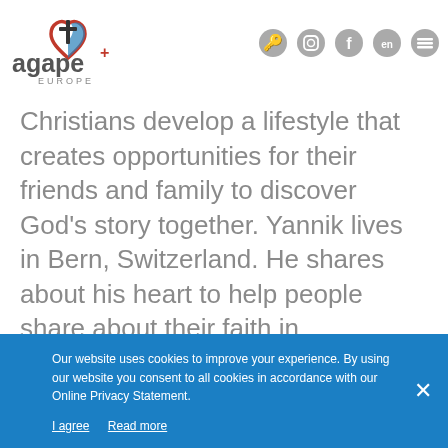[Figure (logo): Agape Europe logo with heart and cross icon]
Christians develop a lifestyle that creates opportunities for their friends and family to discover God's story together. Yannik lives in Bern, Switzerland. He shares about his heart to help people share about their faith in approachable and attractive ways. Tune in this week for Humans of Agape.
[Figure (screenshot): Audio player widget for 'Humans of Agape #21 Yannik Stauffer'. Shows play button, title in orange, subtitle 'What is God doing within Agape Europe? Let's he...', timestamp 00:00, rewind/forward controls, 1x speed, share button.]
Our website uses cookies to improve your experience. By using our website you consent to all cookies in accordance with our Online Privacy Statement.
I agree  Read more